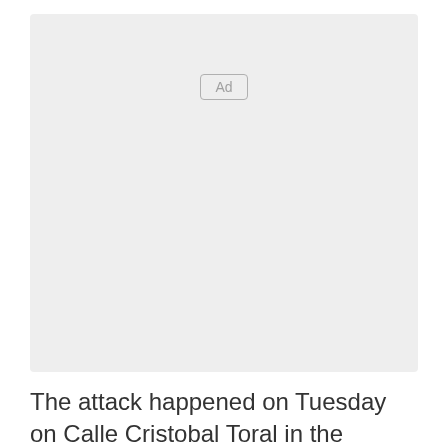[Figure (other): Advertisement placeholder box with 'Ad' label in center-top area]
The attack happened on Tuesday on Calle Cristobal Toral in the Malaga town of